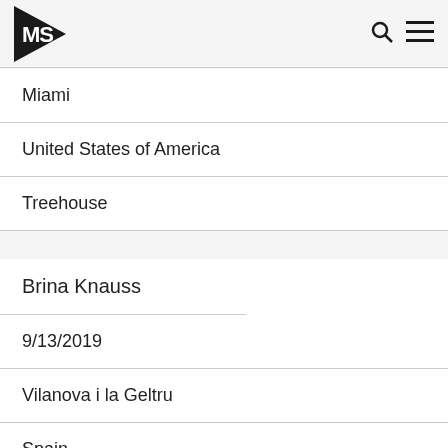MS [logo with triangle] | Search | Menu
Miami
United States of America
Treehouse
Brina Knauss
9/13/2019
Vilanova i la Geltru
Spain
La Daurada